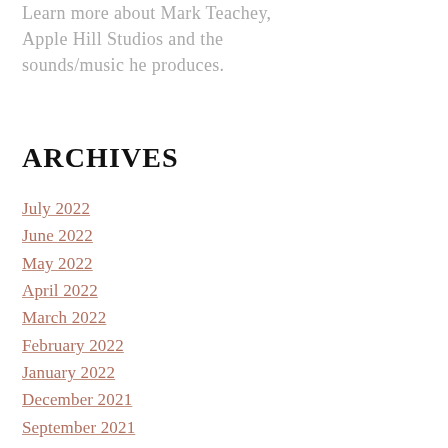Learn more about Mark Teachey, Apple Hill Studios and the sounds/music he produces.
ARCHIVES
July 2022
June 2022
May 2022
April 2022
March 2022
February 2022
January 2022
December 2021
September 2021
August 2021
July 2021
June 2021
May 2021
April 2021